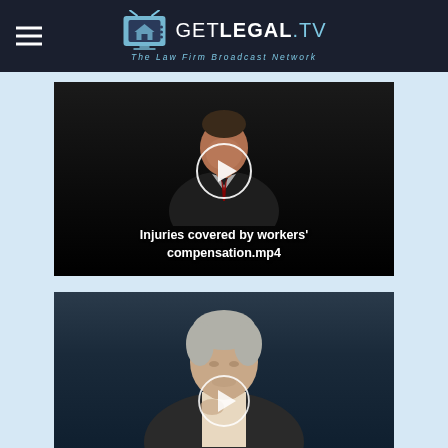GETLEGAL.TV — The Law Firm Broadcast Network
[Figure (screenshot): Video thumbnail showing a man in a dark suit with a play button overlay and text 'Injuries covered by workers' compensation.mp4']
[Figure (screenshot): Video thumbnail showing an older man with gray hair and a play button overlay, partially visible]